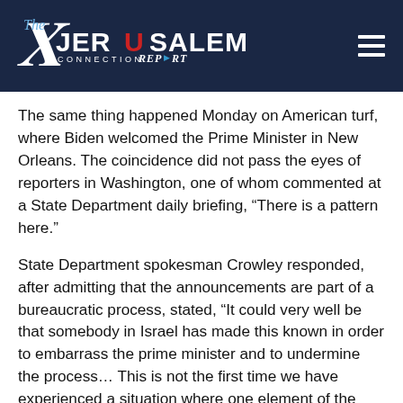[Figure (logo): The Jerusalem Connection Report logo — white and blue text on dark navy background with American flag motif in the letter U of Jerusalem]
The same thing happened Monday on American turf, where Biden welcomed the Prime Minister in New Orleans. The coincidence did not pass the eyes of reporters in Washington, one of whom commented at a State Department daily briefing, “There is a pattern here.”
State Department spokesman Crowley responded, after admitting that the announcements are part of a bureaucratic process, stated, “It could very well be that somebody in Israel has made this known in order to embarrass the prime minister and to undermine the process… This is not the first time we have experienced a situation where one element of the